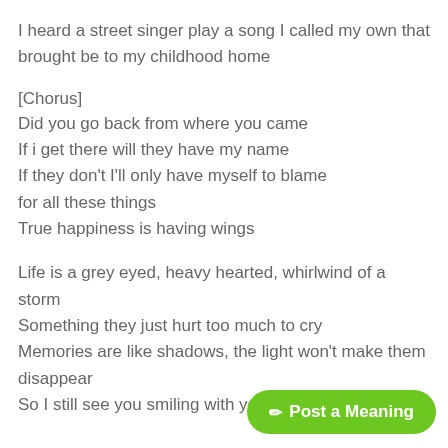I heard a street singer play a song I called my own that brought be to my childhood home
[Chorus]
Did you go back from where you came
If i get there will they have my name
If they don't I'll only have myself to blame
for all these things
True happiness is having wings
Life is a grey eyed, heavy hearted, whirlwind of a storm
Something they just hurt too much to cry
Memories are like shadows, the light won't make them disappear
So I still see you smiling with your
[Figure (other): Green rounded button with pencil icon and text 'Post a Meaning']